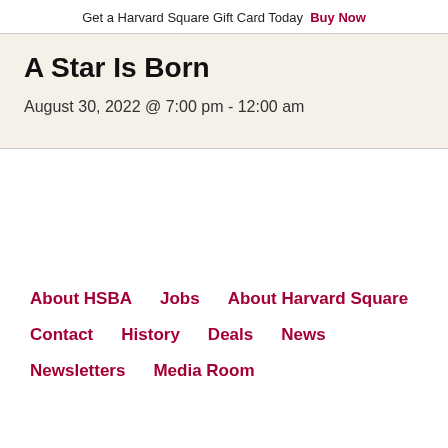Get a Harvard Square Gift Card Today  Buy Now
A Star Is Born
August 30, 2022 @ 7:00 pm - 12:00 am
About HSBA
Jobs
About Harvard Square
Contact
History
Deals
News
Newsletters
Media Room